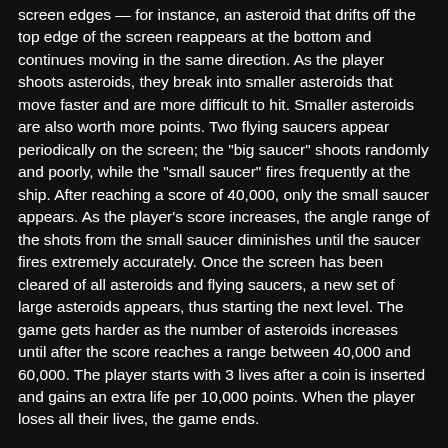screen edges — for instance, an asteroid that drifts off the top edge of the screen reappears at the bottom and continues moving in the same direction. As the player shoots asteroids, they break into smaller asteroids that move faster and are more difficult to hit. Smaller asteroids are also worth more points. Two flying saucers appear periodically on the screen; the "big saucer" shoots randomly and poorly, while the "small saucer" fires frequently at the ship. After reaching a score of 40,000, only the small saucer appears. As the player's score increases, the angle range of the shots from the small saucer diminishes until the saucer fires extremely accurately. Once the screen has been cleared of all asteroids and flying saucers, a new set of large asteroids appears, thus starting the next level. The game gets harder as the number of asteroids increases until after the score reaches a range between 40,000 and 60,000. The player starts with 3 lives after a coin is inserted and gains an extra life per 10,000 points. When the player loses all their lives, the game ends.
Asteroids - Game History
Asteroids is an arcade space shooter first released in